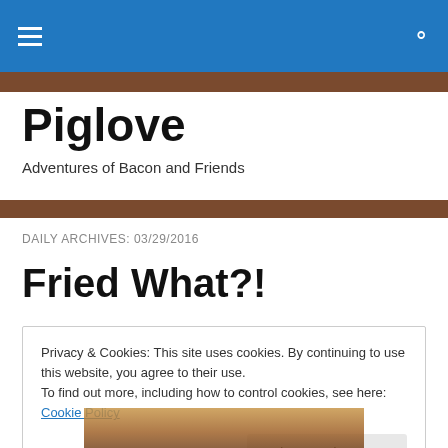Piglove — navigation bar with hamburger menu and search icon
Piglove
Adventures of Bacon and Friends
DAILY ARCHIVES: 03/29/2016
Fried What?!
Privacy & Cookies: This site uses cookies. By continuing to use this website, you agree to their use.
To find out more, including how to control cookies, see here: Cookie Policy
[Figure (photo): Partial view of food at the bottom of the page]